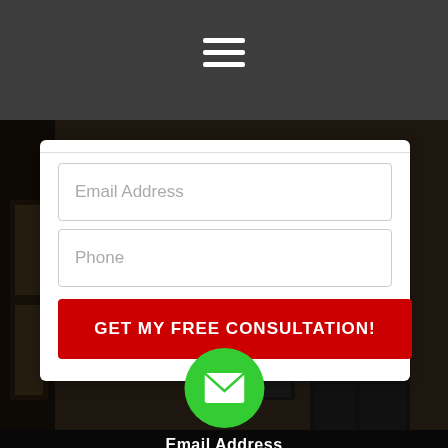Navigation menu (hamburger icon)
[Figure (screenshot): Web page screenshot showing a contact form card with Email Address and Phone input fields, a red GET MY FREE CONSULTATION! button, overlaid on a dark background photo of a building entrance. A green circle with envelope/mail icon and 'Email Address' label appears at the bottom.]